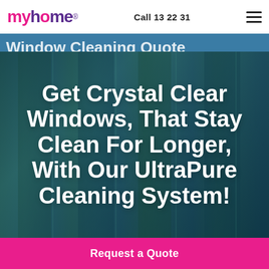myhome® | Call 13 22 31
Window Cleaning Quote
[Figure (photo): Hero image with dark teal/forest background showing trees through windows with large white bold text overlay reading: Get Crystal Clear Windows, That Stay Clean For Longer, With Our UltraPure Cleaning System!]
Request a Quote